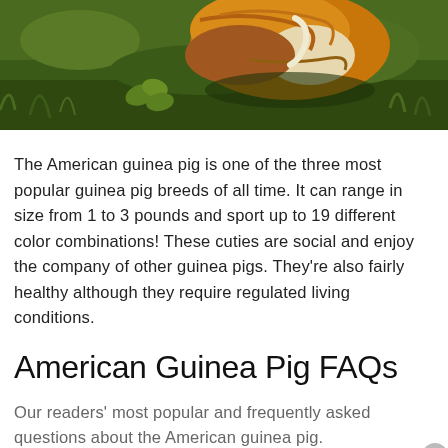[Figure (photo): Close-up photo of an orange and white guinea pig among green grass and plants, shot from above showing the animal's back and fur.]
The American guinea pig is one of the three most popular guinea pig breeds of all time. It can range in size from 1 to 3 pounds and sport up to 19 different color combinations! These cuties are social and enjoy the company of other guinea pigs. They're also fairly healthy although they require regulated living conditions.
American Guinea Pig FAQs
Our readers' most popular and frequently asked questions about the American guinea pig.